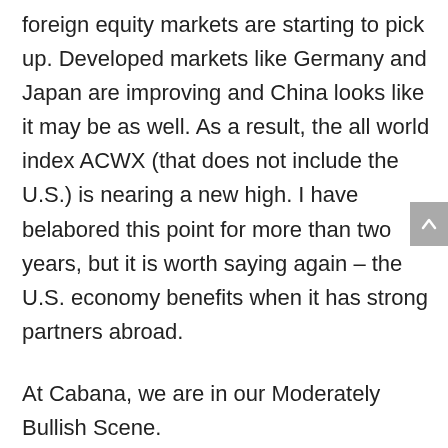foreign equity markets are starting to pick up. Developed markets like Germany and Japan are improving and China looks like it may be as well. As a result, the all world index ACWX (that does not include the U.S.) is nearing a new high. I have belabored this point for more than two years, but it is worth saying again – the U.S. economy benefits when it has strong partners abroad.
At Cabana, we are in our Moderately Bullish Scene.